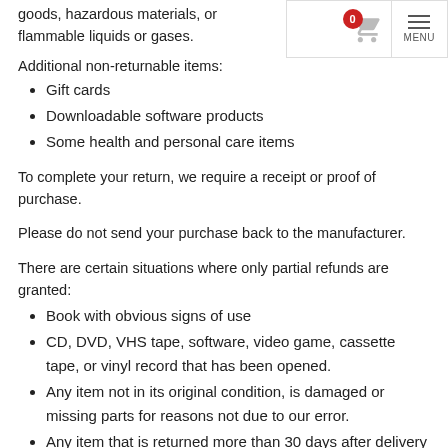goods, hazardous materials, or flammable liquids or gases.
Additional non-returnable items:
Gift cards
Downloadable software products
Some health and personal care items
To complete your return, we require a receipt or proof of purchase.
Please do not send your purchase back to the manufacturer.
There are certain situations where only partial refunds are granted:
Book with obvious signs of use
CD, DVD, VHS tape, software, video game, cassette tape, or vinyl record that has been opened.
Any item not in its original condition, is damaged or missing parts for reasons not due to our error.
Any item that is returned more than 30 days after delivery
Refunds
Once your return is received and inspected, we will send you an email to notify you that we have received your returned item. We will also notify